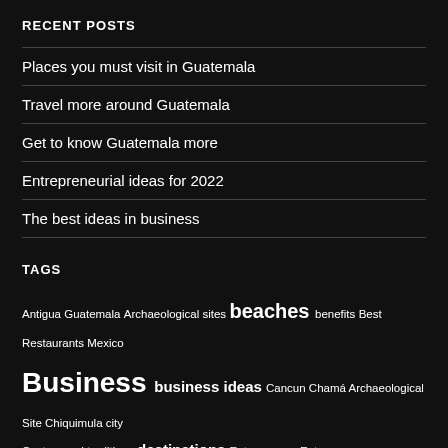RECENT POSTS
Places you must visit in Guatemala
Travel more around Guatemala
Get to know Guatemala more
Entrepreneurial ideas for 2022
The best ideas in business
TAGS
Antigua Guatemala Archaeological sites beaches benefits Best Restaurants Mexico Business business ideas Cancun Chamá Archaeological Site Chiquimula city Custom and traditions destinations Entrepreneur Entrepreneurs Facts about Mexico Fodd business ideas Food Giant Kites Green bonds Guatemala